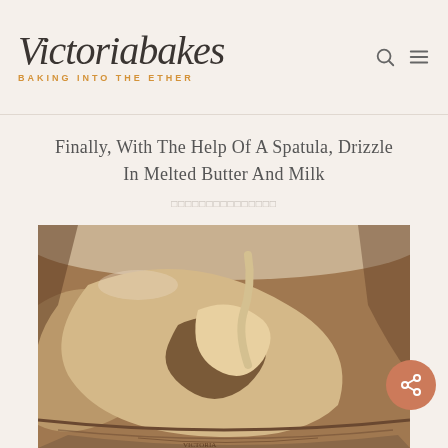Victoriabakes — BAKING INTO THE ETHER
Finally, With The Help Of A Spatula, Drizzle In Melted Butter And Milk
□□□□□□□□□□□□□□□
[Figure (photo): Close-up photo of batter being mixed or poured in a bowl, showing creamy light brown batter with a swirl or fold pattern, bowl has decorative rim]